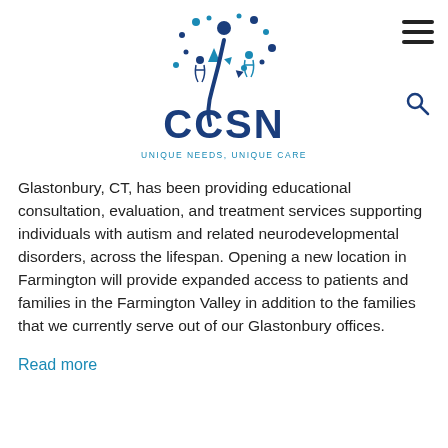[Figure (logo): CCSN logo with abstract people/dots graphic in dark blue above the letters CCSN and tagline UNIQUE NEEDS, UNIQUE CARE]
Glastonbury, CT, has been providing educational consultation, evaluation, and treatment services supporting individuals with autism and related neurodevelopmental disorders, across the lifespan. Opening a new location in Farmington will provide expanded access to patients and families in the Farmington Valley in addition to the families that we currently serve out of our Glastonbury offices.
Read more